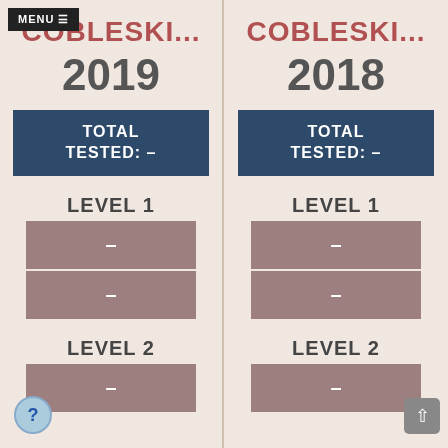MENU ≡
COBLESKI...
COBLESKI...
2019
2018
TOTAL TESTED: —
TOTAL TESTED: —
LEVEL 1
LEVEL 1
LEVEL 2
LEVEL 2